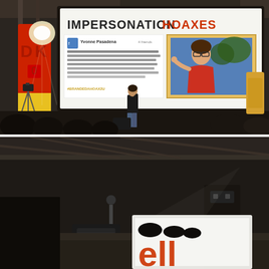[Figure (photo): Conference presentation photo: A presenter (woman in black top and jeans) stands on stage in front of a large projection screen showing a slide titled 'IMPERSONATION HOAXES' in bold white and red text. The slide contains a social media post screenshot on the left and a photo of a person on the right. Stage lights, camera equipment, and audience silhouettes visible. Red and yellow banners on the left side of the stage.]
[Figure (photo): Second conference photo: A different angle of the same or similar venue, showing the stage from a low angle. A projector or light is visible, and another large screen is partially visible in the lower right with red/orange text beginning to appear. The ceiling and industrial-style venue structure are visible.]